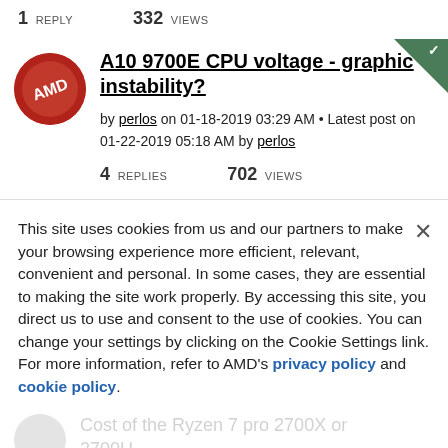1 REPLY   332 VIEWS
A10 9700E CPU voltage - graphic instability?
by perlos on 01-18-2019 03:29 AM • Latest post on 01-22-2019 05:18 AM by perlos
4 REPLIES   702 VIEWS
This site uses cookies from us and our partners to make your browsing experience more efficient, relevant, convenient and personal. In some cases, they are essential to making the site work properly. By accessing this site, you direct us to use and consent to the use of cookies. You can change your settings by clicking on the Cookie Settings link. For more information, refer to AMD's privacy policy and cookie policy.
Cookies Settings